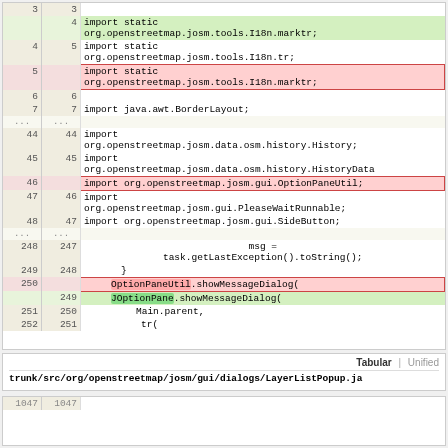| old | new | code |
| --- | --- | --- |
|  | 3 | 3 |  |
|  | 4 | import static org.openstreetmap.josm.tools.I18n.marktr; |
| 4 | 5 | import static org.openstreetmap.josm.tools.I18n.tr; |
| 5 |  | import static org.openstreetmap.josm.tools.I18n.marktr; |
| 6 | 6 |  |
| 7 | 7 | import java.awt.BorderLayout; |
| ... | ... |  |
| 44 | 44 | import org.openstreetmap.josm.data.osm.history.History; |
| 45 | 45 | import org.openstreetmap.josm.data.osm.history.HistoryData |
| 46 |  | import org.openstreetmap.josm.gui.OptionPaneUtil; |
| 47 | 46 | import org.openstreetmap.josm.gui.PleaseWaitRunnable; |
| 48 | 47 | import org.openstreetmap.josm.gui.SideButton; |
| ... | ... |  |
| 248 | 247 |         msg = task.getLastException().toString(); |
| 249 | 248 |             } |
| 250 |  |             OptionPaneUtil.showMessageDialog( |
|  | 249 |             JOptionPane.showMessageDialog( |
| 251 | 250 |                 Main.parent, |
| 252 | 251 |                 tr( |
Tabular | Unified
trunk/src/org/openstreetmap/josm/gui/dialogs/LayerListPopup.ja